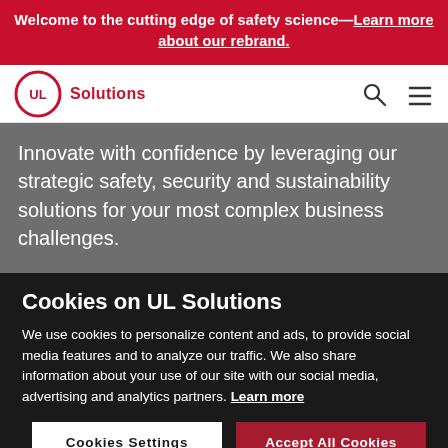Welcome to the cutting edge of safety science—Learn more about our rebrand.
[Figure (logo): UL Solutions logo — red circle with UL text and 'Solutions' wordmark]
Innovate with confidence by leveraging our strategic safety, security and sustainability solutions for your most complex business challenges.
Cookies on UL Solutions
We use cookies to personalize content and ads, to provide social media features and to analyze our traffic. We also share information about your use of our site with our social media, advertising and analytics partners. Learn more